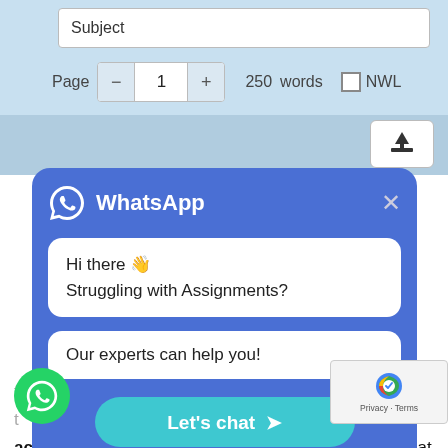[Figure (screenshot): Screenshot of an assignment ordering form with Subject field, page count stepper set to 1, 250 words, NWL checkbox, and upload button]
[Figure (screenshot): WhatsApp chat popup overlay with blue background, logo, greeting 'Hi there 👋 Struggling with Assignments?', 'Our experts can help you!' message bubble, and 'Let's chat ➤' button]
accounting, finance, statistics and mathematics that are in the college and university levels in most of the countries, Australia, New Zealand, USA and Canada. the various fields where Perdisco publishes learning contents
[Figure (logo): WhatsApp floating chat button (green circle)]
[Figure (other): reCAPTCHA badge with logo, Privacy and Terms links]